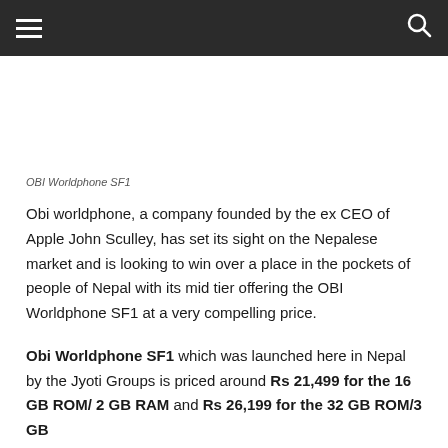≡  🔍
OBI Worldphone SF1
Obi worldphone, a company founded by the ex CEO of Apple John Sculley, has set its sight on the Nepalese market and is looking to win over a place in the pockets of people of Nepal with its mid tier offering the OBI Worldphone SF1 at a very compelling price.
Obi Worldphone SF1 which was launched here in Nepal by the Jyoti Groups is priced around Rs 21,499 for the 16 GB ROM/ 2 GB RAM and Rs 26,199 for the 32 GB ROM/3 GB